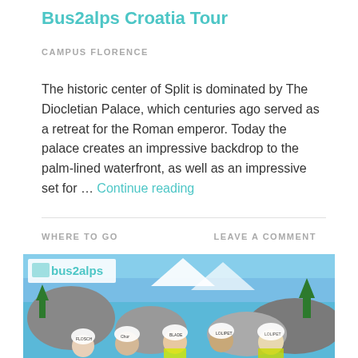Bus2alps Croatia Tour
CAMPUS FLORENCE
The historic center of Split is dominated by The Diocletian Palace, which centuries ago served as a retreat for the Roman emperor. Today the palace creates an impressive backdrop to the palm-lined waterfront, as well as an impressive set for … Continue reading
WHERE TO GO
LEAVE A COMMENT
[Figure (photo): Group of young people wearing helmets and safety gear, posing in front of rocky mountain landscape with blue sky. Bus2alps logo badge visible in top left corner.]